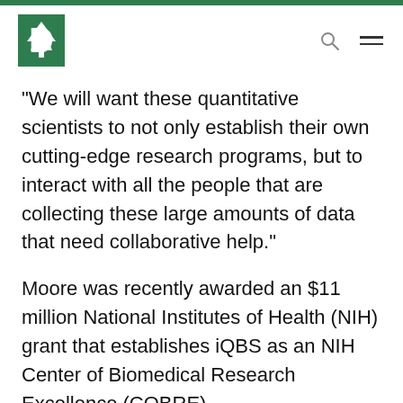Dartmouth College header with logo, search, and menu icons
“We will want these quantitative scientists to not only establish their own cutting-edge research programs, but to interact with all the people that are collecting these large amounts of data that need collaborative help.”
Moore was recently awarded an $11 million National Institutes of Health (NIH) grant that establishes iQBS as an NIH Center of Biomedical Research Excellence (COBRE)